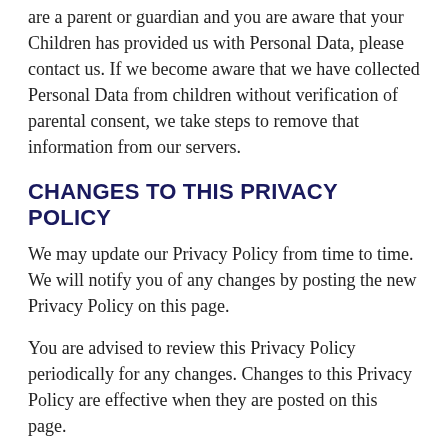are a parent or guardian and you are aware that your Children has provided us with Personal Data, please contact us. If we become aware that we have collected Personal Data from children without verification of parental consent, we take steps to remove that information from our servers.
CHANGES TO THIS PRIVACY POLICY
We may update our Privacy Policy from time to time. We will notify you of any changes by posting the new Privacy Policy on this page.
You are advised to review this Privacy Policy periodically for any changes. Changes to this Privacy Policy are effective when they are posted on this page.
CONTACT US
If you have any questions about this Privacy Policy, please contact us by emailing us through this website.